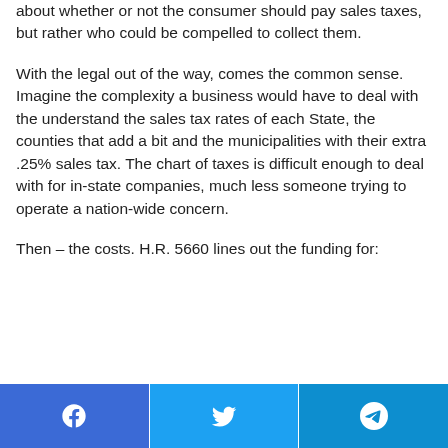about whether or not the consumer should pay sales taxes, but rather who could be compelled to collect them.
With the legal out of the way, comes the common sense. Imagine the complexity a business would have to deal with the understand the sales tax rates of each State, the counties that add a bit and the municipalities with their extra .25% sales tax. The chart of taxes is difficult enough to deal with for in-state companies, much less someone trying to operate a nation-wide concern.
Then – the costs. H.R. 5660 lines out the funding for:
[Figure (infographic): Social media share bar with three buttons: Facebook (blue), Twitter (light blue), Telegram (dark blue), each with their respective icons in white.]